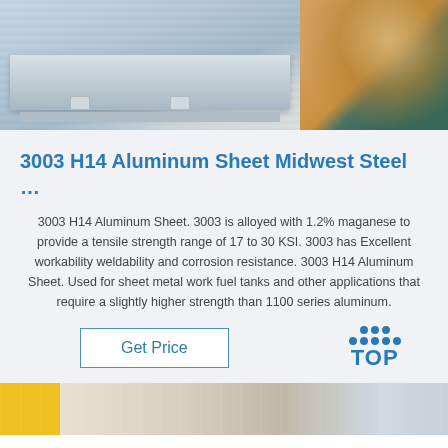[Figure (photo): Two photos side by side: left shows stacked aluminum sheets with white edge trim and clips, right shows industrial bags/materials in green and tan colors]
3003 H14 Aluminum Sheet Midwest Steel …
3003 H14 Aluminum Sheet. 3003 is alloyed with 1.2% maganese to provide a tensile strength range of 17 to 30 KSI. 3003 has Excellent workability weldability and corrosion resistance. 3003 H14 Aluminum Sheet. Used for sheet metal work fuel tanks and other applications that require a slightly higher strength than 1100 series aluminum.
[Figure (logo): Get Price button and TOP logo with blue dots forming a triangle above the word TOP]
[Figure (photo): Bottom photo showing industrial warehouse interior with yellow structure and piping]